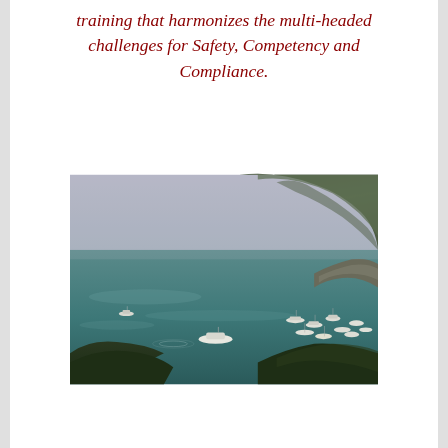training that harmonizes the multi-headed challenges for Safety, Competency and Compliance.
[Figure (photo): Aerial view of a coastal bay with boats anchored on blue-green water, a rocky tree-covered hillside in the upper right, under a grey hazy sky.]